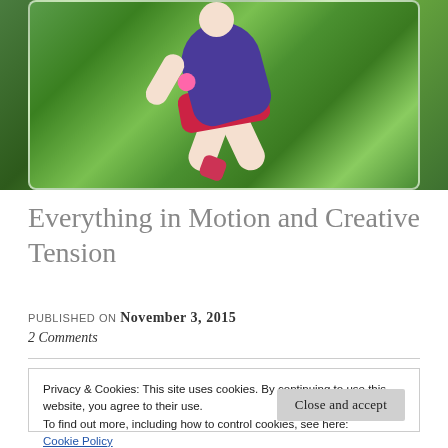[Figure (photo): Photo of a person in purple shirt and red shorts playing or running on green grass, motion blur effect, framed with white border and rounded corners]
Everything in Motion and Creative Tension
PUBLISHED ON November 3, 2015
2 Comments
Privacy & Cookies: This site uses cookies. By continuing to use this website, you agree to their use.
To find out more, including how to control cookies, see here:
Cookie Policy
Close and accept
disappeared into nothing and then became— something